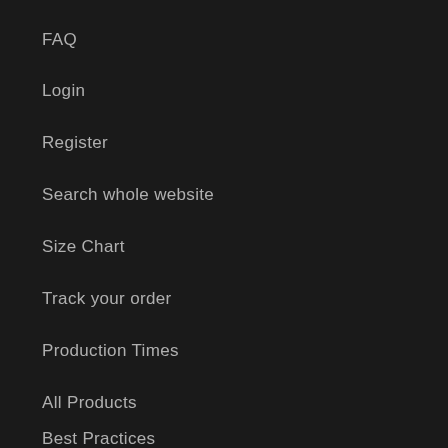FAQ
Login
Register
Search whole website
Size Chart
Track your order
Production Times
All Products
Best Practices